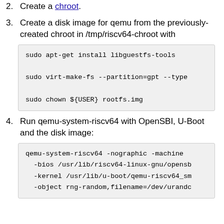2. Create a chroot.
3. Create a disk image for qemu from the previously-created chroot in /tmp/riscv64-chroot with
sudo apt-get install libguestfs-tools
sudo virt-make-fs --partition=gpt --type
sudo chown ${USER} rootfs.img
4. Run qemu-system-riscv64 with OpenSBI, U-Boot and the disk image:
qemu-system-riscv64 -nographic -machine
  -bios /usr/lib/riscv64-linux-gnu/opensb
  -kernel /usr/lib/u-boot/qemu-riscv64_sm
  -object rng-random,filename=/dev/urandc